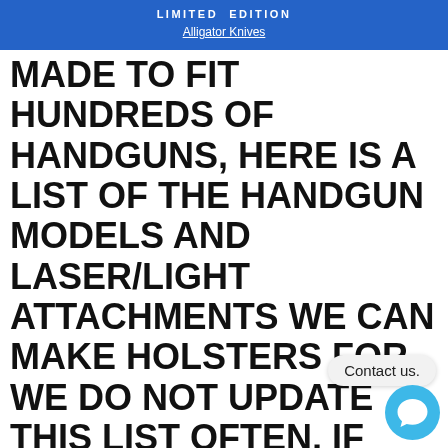LIMITED EDITION
Alligator Knives
MADE TO FIT HUNDREDS OF HANDGUNS, HERE IS A LIST OF THE HANDGUN MODELS AND LASER/LIGHT ATTACHMENTS WE CAN MAKE HOLSTERS FOR. WE DO NOT UPDATE THIS LIST OFTEN, IF YOU DO NOT SEE YOUR FIREARM ON THIS LIST, DO NOT WORRY, WE WILL BE ABLE TO MAKE A HOLSTER FOR YOU. CALL 843-501-2771 IF YOU DO NOT SEE YOUR HANDGUN ON THIS LIST.